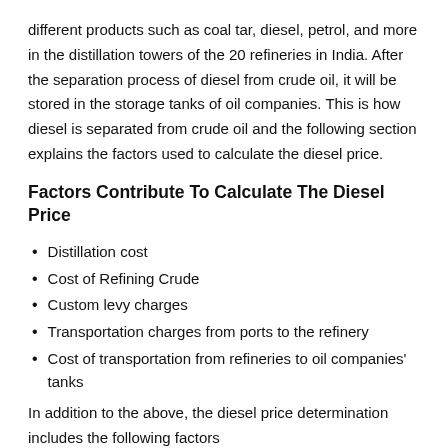different products such as coal tar, diesel, petrol, and more in the distillation towers of the 20 refineries in India. After the separation process of diesel from crude oil, it will be stored in the storage tanks of oil companies. This is how diesel is separated from crude oil and the following section explains the factors used to calculate the diesel price.
Factors Contribute To Calculate The Diesel Price
Distillation cost
Cost of Refining Crude
Custom levy charges
Transportation charges from ports to the refinery
Cost of transportation from refineries to oil companies' tanks
In addition to the above, the diesel price determination includes the following factors